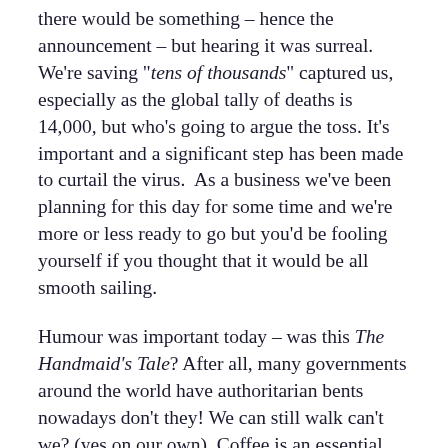there would be something – hence the announcement – but hearing it was surreal. We're saving "tens of thousands" captured us, especially as the global tally of deaths is 14,000, but who's going to argue the toss. It's important and a significant step has been made to curtail the virus.  As a business we've been planning for this day for some time and we're more or less ready to go but you'd be fooling yourself if you thought that it would be all smooth sailing.
Humour was important today – was this The Handmaid's Tale? After all, many governments around the world have authoritarian bents nowadays don't they! We can still walk can't we? (yes on our own). Coffee is an essential service right? (wrong, but you can get it from the Supermarket). Can you go to the Supermarket in Warkworth? (well, we don't know,